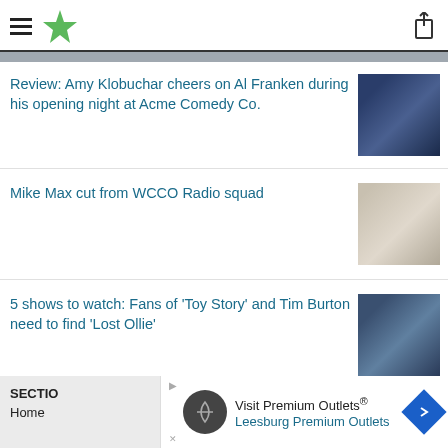Menu / Star Tribune logo / Share icon
Review: Amy Klobuchar cheers on Al Franken during his opening night at Acme Comedy Co.
Mike Max cut from WCCO Radio squad
5 shows to watch: Fans of 'Toy Story' and Tim Burton need to find 'Lost Ollie'
SECTIONS Home | Advertisement: Visit Premium Outlets® Leesburg Premium Outlets